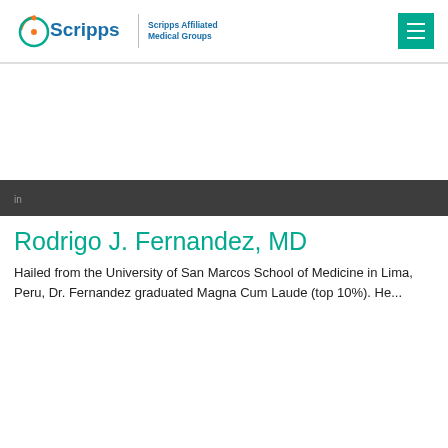Scripps | Scripps Affiliated Medical Groups
Rodrigo J. Fernandez, MD
Hailed from the University of San Marcos School of Medicine in Lima, Peru, Dr. Fernandez graduated Magna Cum Laude (top 10%).  He...